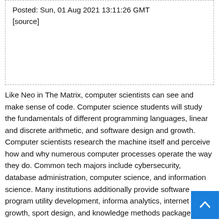Posted: Sun, 01 Aug 2021 13:11:26 GMT
[source]
Like Neo in The Matrix, computer scientists can see and make sense of code. Computer science students will study the fundamentals of different programming languages, linear and discrete arithmetic, and software design and growth. Computer scientists research the machine itself and perceive how and why numerous computer processes operate the way they do. Common tech majors include cybersecurity, database administration, computer science, and information science. Many institutions additionally provide software program utility development, information analytics, internet growth, sport design, and knowledge methods packages.